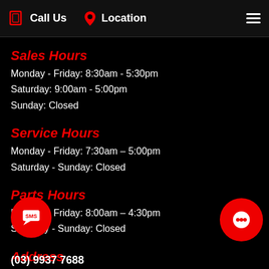Call Us   Location
Sales Hours
Monday - Friday: 8:30am - 5:30pm
Saturday: 9:00am - 5:00pm
Sunday: Closed
Service Hours
Monday - Friday: 7:30am – 5:00pm
Saturday - Sunday: Closed
Parts Hours
Monday - Friday: 8:00am – 4:30pm
Saturday - Sunday: Closed
Address
300 Wirraway Rd,
Essendon Fields, VIC 3041
(03) 9937 7688